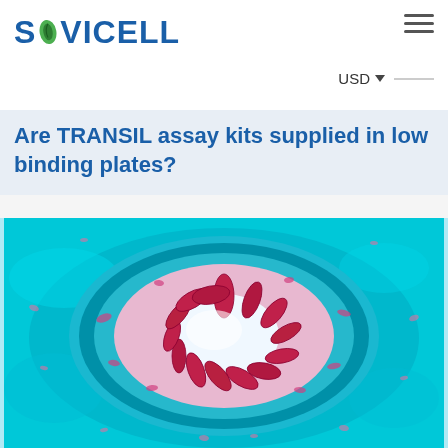SOVICELL — USD
Are TRANSIL assay kits supplied in low binding plates?
[Figure (photo): Microscopy image showing a cross-section of a blood vessel or tissue structure with pink/purple staining on a cyan/teal background, displaying circular arrangement of cells]